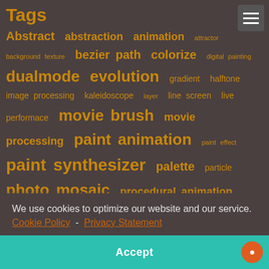Tags
Abstract  abstraction  animation  attractor  background texture  bezier path  colorize  digital painting  dualmode  evolution  gradient  halftone  image processing  kaleidoscope  layer  line screen  live performace  movie brush  movie processing  paint animation  paint effect  paint synthesizer  palette  particle  photo mosaic  procedural animation  procedural art  recursive  regionize  sketch  slit scan  symmetry  temporal  temporal generator  text  texture  texture synthesizer  Tiling  vector  vectorizer  warp
We use cookies to optimize our website and our service.  Cookie Policy - Privacy Statement
Accept